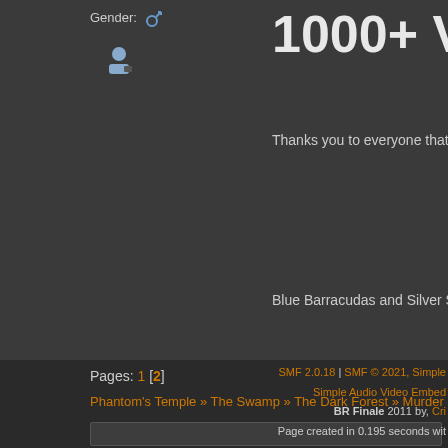Gender: ♂
1000+ Views!
Thanks you to everyone that enjoyed m
Blue Barracudas and Silver Snakes fan
Pages: 1 [2]
Phantom's Temple » The Swamp » The Dark Forest » Murder In Small Town X; The
SMF 2.0.18 | SMF © 2021, Simple Audio Video Embed BR Finale 2011 by, Cri Page created in 0.195 seconds wit